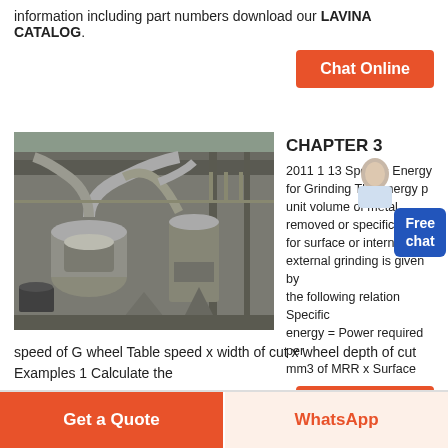information including part numbers download our LAVINA CATALOG.
[Figure (other): Button labeled 'Chat Online' with orange background]
[Figure (photo): Industrial grinding mill equipment inside a factory building, showing large machines with pipes and hoppers]
CHAPTER 3
2011 1 13 Specific Energy for Grinding The energy per unit volume of metal removed or specific energy for surface or internal or external grinding is given by the following relation Specific energy = Power required per mm3 of MRR x Surface speed of G wheel Table speed x width of cut x wheel depth of cut Examples 1 Calculate the
[Figure (other): Button labeled 'Chat Online' with orange background]
[Figure (other): Footer button 'Get a Quote' in orange]
[Figure (other): Footer button 'WhatsApp' in light orange]